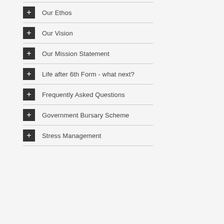Our Ethos
Our Vision
Our Mission Statement
Life after 6th Form - what next?
Frequently Asked Questions
Government Bursary Scheme
Stress Management